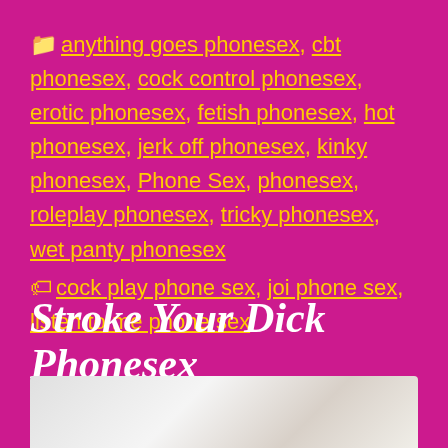📁 anything goes phonesex, cbt phonesex, cock control phonesex, erotic phonesex, fetish phonesex, hot phonesex, jerk off phonesex, kinky phonesex, Phone Sex, phonesex, roleplay phonesex, tricky phonesex, wet panty phonesex 🏷 cock play phone sex, joi phone sex, listen to me phone sex
Stroke Your Dick Phonesex
November 1, 2015 by Writer
[Figure (photo): Partial photo visible at bottom of page, appears to show a person in white clothing]